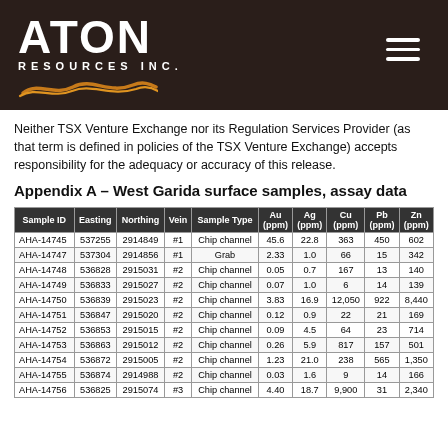[Figure (logo): Aton Resources Inc. logo with orange squiggle on dark brown background, with hamburger menu icon]
Neither TSX Venture Exchange nor its Regulation Services Provider (as that term is defined in policies of the TSX Venture Exchange) accepts responsibility for the adequacy or accuracy of this release.
Appendix A – West Garida surface samples, assay data
| Sample ID | Easting | Northing | Vein | Sample Type | Au (ppm) | Ag (ppm) | Cu (ppm) | Pb (ppm) | Zn (ppm) |
| --- | --- | --- | --- | --- | --- | --- | --- | --- | --- |
| AHA-14745 | 537255 | 2914849 | #1 | Chip channel | 45.6 | 22.8 | 363 | 450 | 602 |
| AHA-14747 | 537304 | 2914856 | #1 | Grab | 2.33 | 1.0 | 66 | 15 | 342 |
| AHA-14748 | 536828 | 2915031 | #2 | Chip channel | 0.05 | 0.7 | 167 | 13 | 140 |
| AHA-14749 | 536833 | 2915027 | #2 | Chip channel | 0.07 | 1.0 | 6 | 14 | 139 |
| AHA-14750 | 536839 | 2915023 | #2 | Chip channel | 3.83 | 16.9 | 12,050 | 922 | 8,440 |
| AHA-14751 | 536847 | 2915020 | #2 | Chip channel | 0.12 | 0.9 | 22 | 21 | 169 |
| AHA-14752 | 536853 | 2915015 | #2 | Chip channel | 0.09 | 4.5 | 64 | 23 | 714 |
| AHA-14753 | 536863 | 2915012 | #2 | Chip channel | 0.26 | 5.9 | 817 | 157 | 501 |
| AHA-14754 | 536872 | 2915005 | #2 | Chip channel | 1.23 | 21.0 | 238 | 565 | 1,350 |
| AHA-14755 | 536874 | 2914988 | #2 | Chip channel | 0.03 | 1.6 | 9 | 14 | 166 |
| AHA-14756 | 536825 | 2915074 | #3 | Chip channel | 4.40 | 18.7 | 9,900 | 31 | 2,340 |